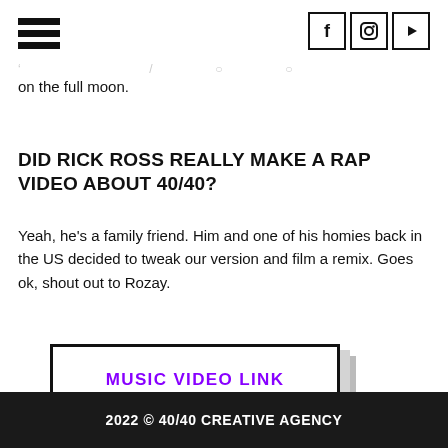[hamburger menu] [f] [instagram] [youtube]
on the full moon.
DID RICK ROSS REALLY MAKE A RAP VIDEO ABOUT 40/40?
Yeah, he’s a family friend. Him and one of his homies back in the US decided to tweak our version and film a remix. Goes ok, shout out to Rozay.
[Figure (other): A button with shadow offset effect reading MUSIC VIDEO LINK in purple uppercase bold text, white background with black border, stacked gray shadow layers behind it]
2022 © 40/40 CREATIVE AGENCY